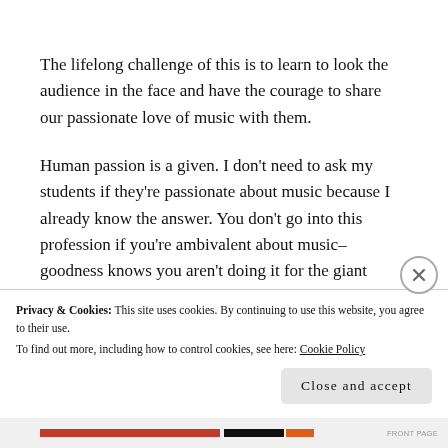The lifelong challenge of this is to learn to look the audience in the face and have the courage to share our passionate love of music with them.
Human passion is a given. I don't need to ask my students if they're passionate about music because I already know the answer. You don't go into this profession if you're ambivalent about music–goodness knows you aren't doing it for the giant salary or the easy lifestyle. My students are here because they have a...
Privacy & Cookies: This site uses cookies. By continuing to use this website, you agree to their use.
To find out more, including how to control cookies, see here: Cookie Policy
Close and accept